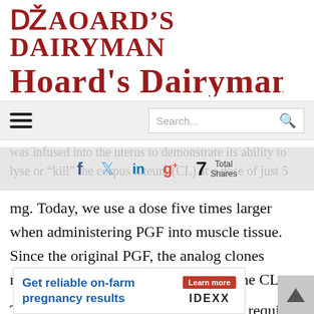Hoard's Dairyman
was infused into the uterus to demonstrate its ability to lyse or "kill" the corpus luteum (CL) at a dose of just 5
mg. Today, we use a dose five times larger when administering PGF into muscle tissue. Since the original PGF, the analog clones require lesser effective doses to lyse the CL.
Today's timed A.I. breeding programs require two effective products to synchronize the estrous cycle and
[Figure (screenshot): Ad banner for IDEXX: 'Get reliable on-farm pregnancy results' with a Learn more button and IDEXX logo]